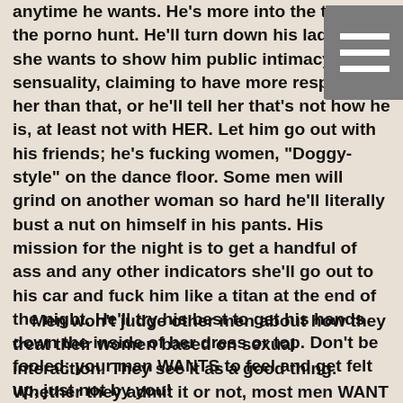anytime he wants. He's more into the thrill of the porno hunt. He'll turn down his lady when she wants to show him public intimacy and sensuality, claiming to have more respect for her than that, or he'll tell her that's not how he is, at least not with HER. Let him go out with his friends; he's fucking women, "Doggy-style" on the dance floor. Some men will grind on another woman so hard he'll literally bust a nut on himself in his pants. His mission for the night is to get a handful of ass and any other indicators she'll go out to his car and fuck him like a titan at the end of the night. He'll try his best to get his hands down the inside of her dress or top. Don't be fooled; your man WANTS to feel and get felt up, just not by you!
Men won't judge other men about how they treat their women based on sexual interaction. They see it as a good thing. Whether they admit it or not, most men WANT a woman who's open enough to slide her hand inside his pants and stroke him until he releases himself, even if she's ugly as fuck. If he's dirty like that and doing dirty shit, he won't care how the other woman looks; his focus is on busting a nut and bragging about how it made him feel like he was in a real-life porno scene. The reason he wouldn't want his lady to do it is that he's trying to maintain a certain level of distance